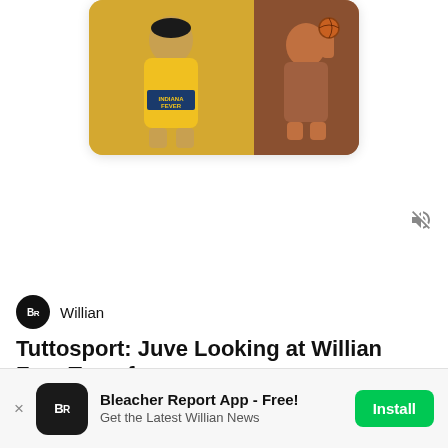[Figure (screenshot): Card with two basketball player images — Indiana Fever player on left, another player on right]
[Figure (other): Mute/speaker-off icon]
Willian
Tuttosport: Juve Looking at Willian Free Transfer
Chelsea winger is out of contract next summer
[Figure (photo): Photo of Willian player, blurred crowd background]
Bleacher Report App - Free!
Get the Latest Willian News